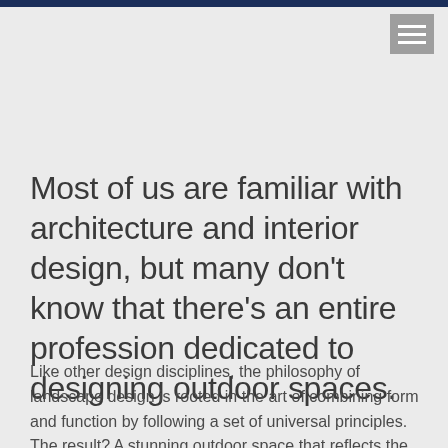Most of us are familiar with architecture and interior design, but many don't know that there's an entire profession dedicated to designing outdoor spaces.
Like other design disciplines, the philosophy of landscape design is rooted in the art of combining form and function by following a set of universal principles. The result? A stunning outdoor space that reflects the